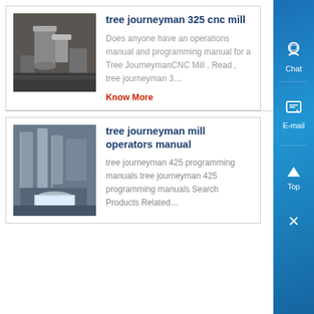[Figure (photo): Industrial CNC mill machinery in a factory setting]
tree journeyman 325 cnc mill
Does anyone have an operations manual and programming manual for a Tree JourneymanCNC Mill , Read , tree journeyman 3...
Know More
[Figure (photo): Industrial mill with ductwork and fabric bag filter in a factory]
tree journeyman mill operators manual
tree journeyman 425 programming manuals tree journeyman 425 programming manuals Search Products Related...